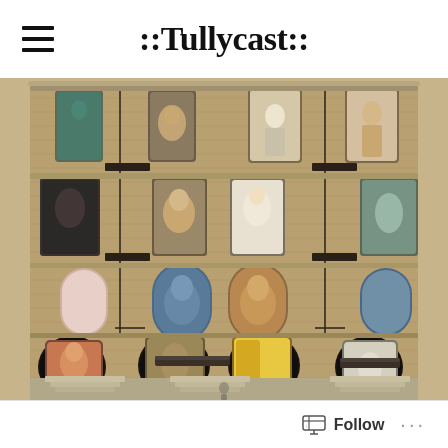::Tullycast::
[Figure (photo): Led Zeppelin Physical Graffiti album cover — a sepia-toned New York City brownstone apartment building facade with colorful figures and portraits visible through arched windows across multiple floors, fire escapes on the exterior]
Follow ...